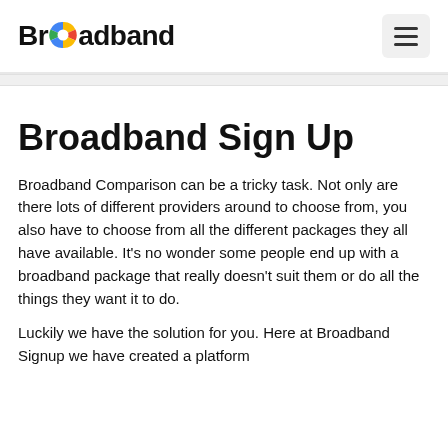Broadband
Broadband Sign Up
Broadband Comparison can be a tricky task. Not only are there lots of different providers around to choose from, you also have to choose from all the different packages they all have available. It's no wonder some people end up with a broadband package that really doesn't suit them or do all the things they want it to do.
Luckily we have the solution for you. Here at Broadband Signup we have created a platform